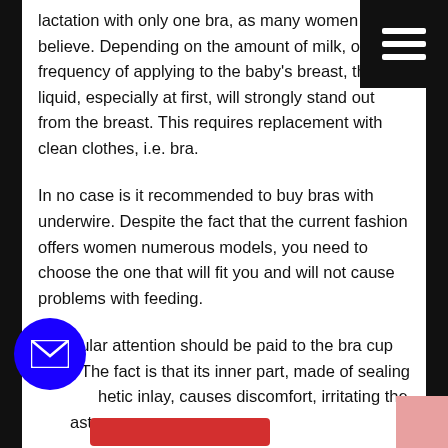lactation with only one bra, as many women believe. Depending on the amount of milk, on the frequency of applying to the baby's breast, the liquid, especially at first, will strongly stand out from the breast. This requires replacement with clean clothes, i.e. bra.
In no case is it recommended to buy bras with underwire. Despite the fact that the current fashion offers women numerous models, you need to choose the one that will fit you and will not cause problems with feeding.
Particular attention should be paid to the bra cup itself. The fact is that its inner part, made of sealing synthetic inlay, causes discomfort, irritating the breasts.